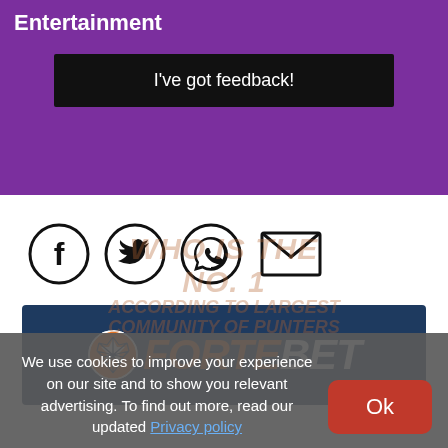Entertainment
I've got feedback!
[Figure (infographic): Social media sharing icons: Facebook (f), Twitter bird, WhatsApp, and email envelope icons]
[Figure (logo): ForteBet logo - orange FORTE text with soccer ball replacing O, white BET text, on dark navy blue background]
We use cookies to improve your experience on our site and to show you relevant advertising. To find out more, read our updated Privacy policy